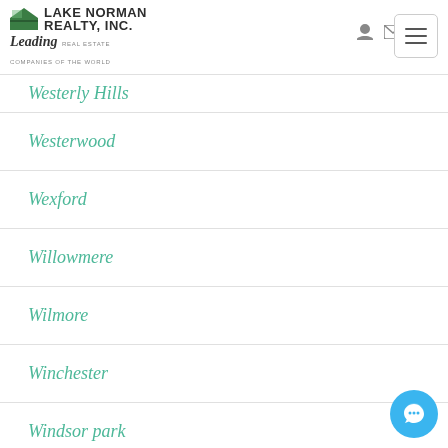Lake Norman Realty, Inc. — Leading Real Estate Companies of the World
Westerly Hills
Westerwood
Wexford
Willowmere
Wilmore
Winchester
Windsor park
Windwood Circle